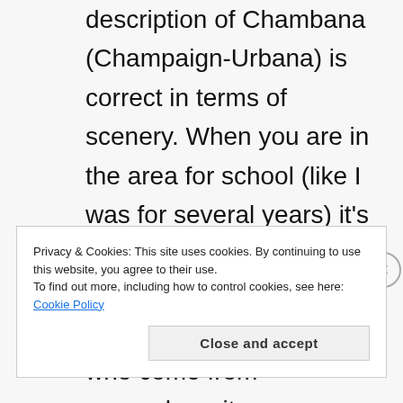description of Chambana (Champaign-Urbana) is correct in terms of scenery. When you are in the area for school (like I was for several years) it's a different scene – somewhat. You get a lot of variety in the students, who come from everywhere it seems (international, Chicago and other cities, small towns, etc.). Ah, but you've visited during the
Privacy & Cookies: This site uses cookies. By continuing to use this website, you agree to their use.
To find out more, including how to control cookies, see here: Cookie Policy
Close and accept